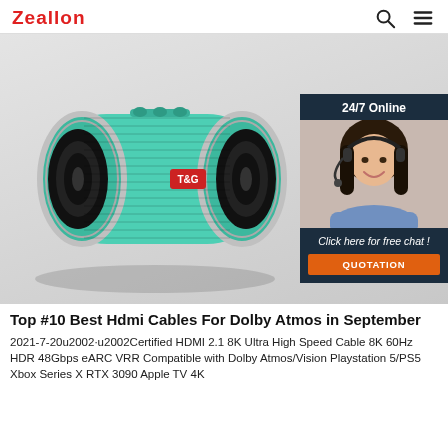Zeallon
[Figure (photo): A teal/mint colored cylindrical Bluetooth speaker (branded T&G) photographed on a light grey background. The speaker has fabric mesh body, chrome end rings, and control buttons on top. An inset panel on the right shows a 24/7 Online chat widget with a photo of a smiling woman wearing a headset, with text 'Click here for free chat!' and an orange QUOTATION button.]
Top #10 Best Hdmi Cables For Dolby Atmos in September
2021-7-20u2002·u2002Certified HDMI 2.1 8K Ultra High Speed Cable 8K 60Hz HDR 48Gbps eARC VRR Compatible with Dolby Atmos/Vision Playstation 5/PS5 Xbox Series X RTX 3090 Apple TV 4K